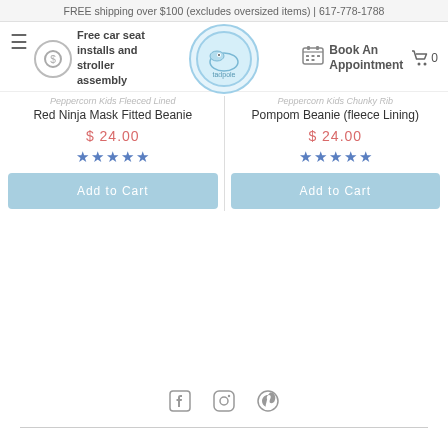FREE shipping over $100 (excludes oversized items) | 617-778-1788
Free car seat installs and stroller assembly
[Figure (logo): Tadpole store logo - circular blue badge with fish illustration]
Book An Appointment
Peppercorn Kids Fleeced Lined Red Ninja Mask Fitted Beanie
$ 24.00
Peppercorn Kids Chunky Rib Pompom Beanie (fleece Lining)
$ 24.00
Add to Cart
Add to Cart